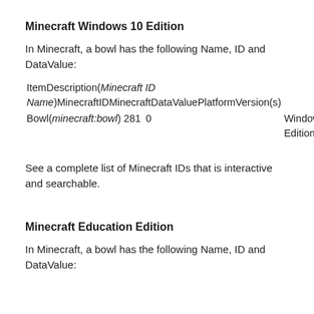Minecraft Windows 10 Edition
In Minecraft, a bowl has the following Name, ID and DataValue:
| ItemDescription(Minecraft ID Name) | MinecraftID | MinecraftDataValue | Platform | Version(s) |
| --- | --- | --- | --- | --- |
| Bowl(minecraft:bowl) | 281 | 0 | Windows 10 Edition | 0.16.0 - 1.17.30 |
See a complete list of Minecraft IDs that is interactive and searchable.
Minecraft Education Edition
In Minecraft, a bowl has the following Name, ID and DataValue: